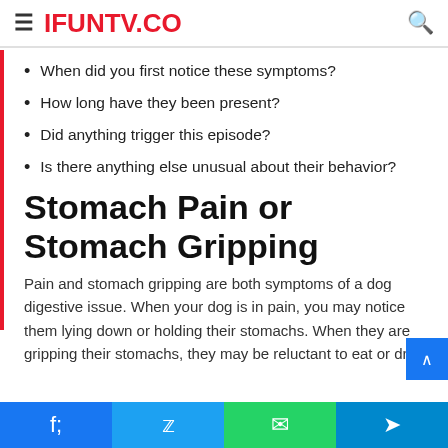IFUNTV.CO
When did you first notice these symptoms?
How long have they been present?
Did anything trigger this episode?
Is there anything else unusual about their behavior?
Stomach Pain or Stomach Gripping
Pain and stomach gripping are both symptoms of a dog digestive issue. When your dog is in pain, you may notice them lying down or holding their stomachs. When they are gripping their stomachs, they may be reluctant to eat or drin
Facebook | Twitter | WhatsApp | Telegram